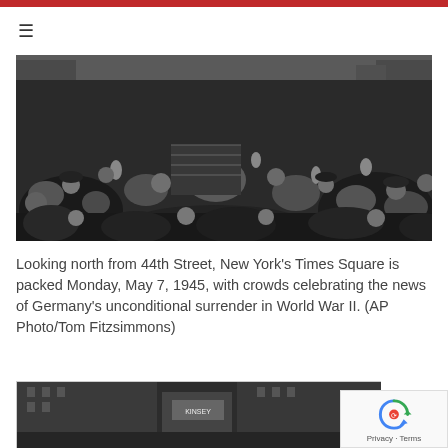≡
[Figure (photo): Black and white photograph looking north from 44th Street showing New York's Times Square packed with crowds celebrating Germany's unconditional surrender on May 7, 1945. An American flag is visible in the crowd.]
Looking north from 44th Street, New York's Times Square is packed Monday, May 7, 1945, with crowds celebrating the news of Germany's unconditional surrender in World War II. (AP Photo/Tom Fitzsimmons)
[Figure (photo): Black and white photograph showing Times Square street level with buildings including a Kinsey sign visible, partially cut off at bottom of page.]